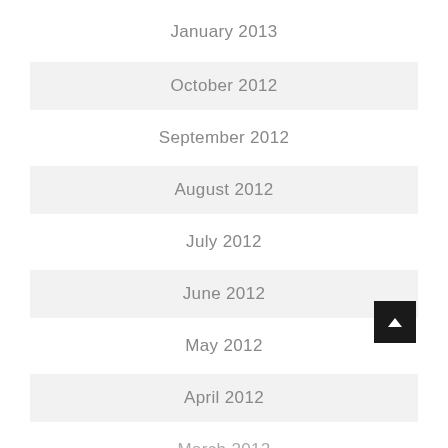January 2013
October 2012
September 2012
August 2012
July 2012
June 2012
May 2012
April 2012
March 2012